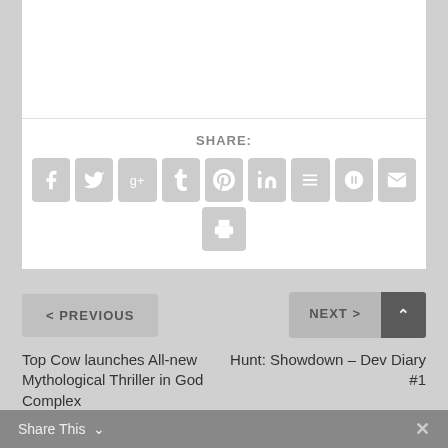SHARE:
[Figure (other): Social sharing icon buttons: Facebook, Twitter, Google+, Tumblr, Pinterest, LinkedIn, Buffer, StumbleUpon, Email, Print]
< PREVIOUS
NEXT >
Top Cow launches All-new Mythological Thriller in God Complex
Hunt: Showdown – Dev Diary #1
Share This ∨  ✕